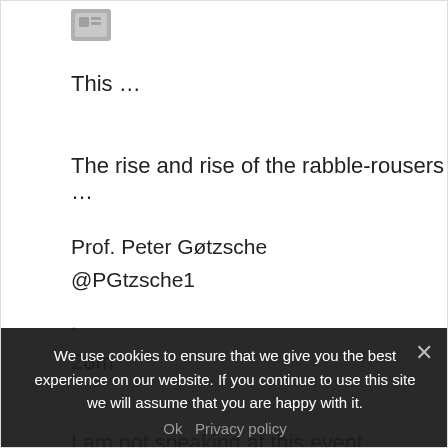[Figure (screenshot): Blurred/pixelated avatar image in top left area]
This …
The rise and rise of the rabble-rousers …
Prof. Peter Gøtzsche
@PGtzsche1
.
28m
I am not speaking at this event. Vaccines, e.g. against measles, polio, yellow fever, smallpox, have saved millions of lives. It is unethical,
We use cookies to ensure that we give you the best experience on our website. If you continue to use this site we will assume that you are happy with it.
Ok   Privacy policy